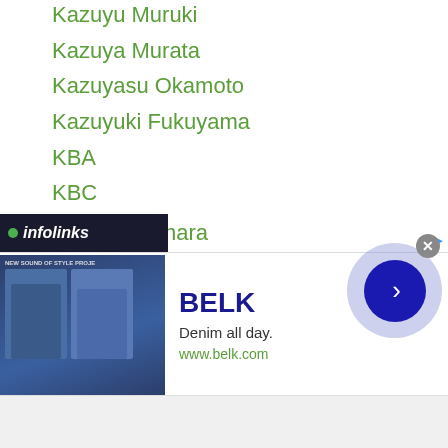Kazuyu Muruki
Kazuya Murata
Kazuyasu Okamoto
Kazuyuki Fukuyama
KBA
KBC
KBF
KBM
Keiichiro Kanehira
Kei Iwahara
Keisuke Iwasaki
Keisuke Matsumoto
Keisuke Nakayama
Kei Takenaka
Keita Kurihara
Keita Nakano
...hara
[Figure (screenshot): BELK advertisement banner: 'Denim all day. www.belk.com' with navigation arrow button and close button]